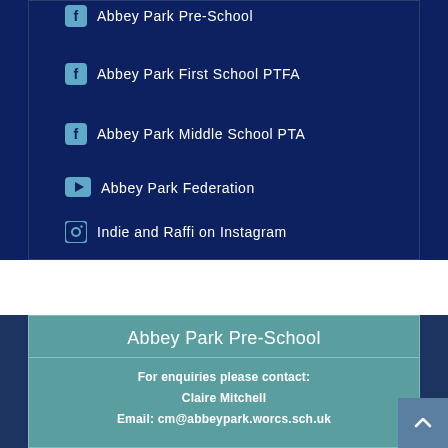Facebook Abbey Park Pre-School
Facebook Abbey Park First School PTFA
Facebook Abbey Park Middle School PTA
YouTube Abbey Park Federation
Instagram Indie and Raffi on Instagram
Abbey Park Pre-School
For enquiries please contact: Claire Mitchell Email: cm@abbeypark.worcs.sch.uk